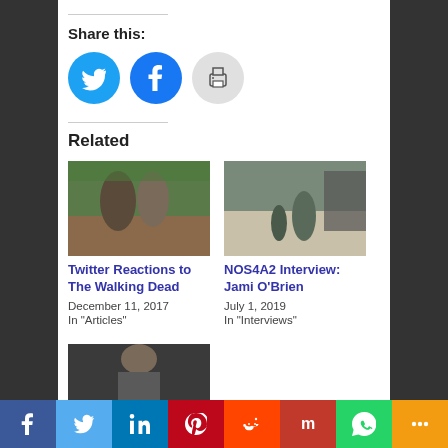Share this:
[Figure (illustration): Three circular social share buttons: Twitter (blue bird), Facebook (blue f), Print (grey printer icon)]
Related
[Figure (photo): Two people walking on a dirt road - Twitter Reactions to The Walking Dead]
Twitter Reactions to The Walking Dead
December 11, 2017
In "Articles"
[Figure (photo): People standing outside a building - NOS4A2 Interview: Jami O'Brien]
NOS4A2 Interview: Jami O'Brien
July 1, 2019
In "Interviews"
[Figure (photo): Man with bun hairstyle and beard - partial image at bottom]
[Figure (infographic): Social media share bar with icons: Facebook, Twitter, LinkedIn, Pinterest, Reddit, Mix, WhatsApp, More]